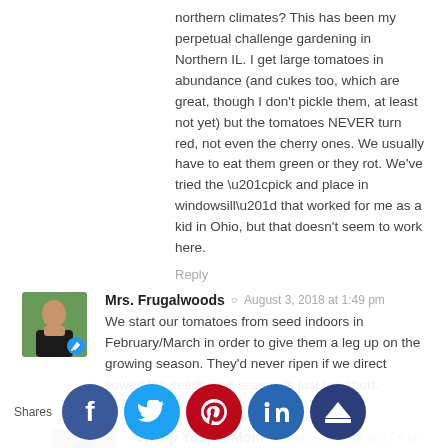northern climates? This has been my perpetual challenge gardening in Northern IL. I get large tomatoes in abundance (and cukes too, which are great, though I don't pickle them, at least not yet) but the tomatoes NEVER turn red, not even the cherry ones. We usually have to eat them green or they rot. We've tried the “pick and place in windowsill” that worked for me as a kid in Ohio, but that doesn't seem to work here.
Reply
Mrs. Frugalwoods  ○  August 3, 2018 at 1:49 pm
We start our tomatoes from seed indoors in February/March in order to give them a leg up on the growing season. They'd never ripen if we direct sowed the seeds–our season is just too short.
Reply
Cheap Yuppie Mom  ○  August 3, 2018 at 2:04 pm
OK. Interestingly enough, I also sowed my cherry tomatoes from seed indoors starting in Feb/March, and my large room tomatoes are started from seed in mature plants purchased in front pots from nursery address 1